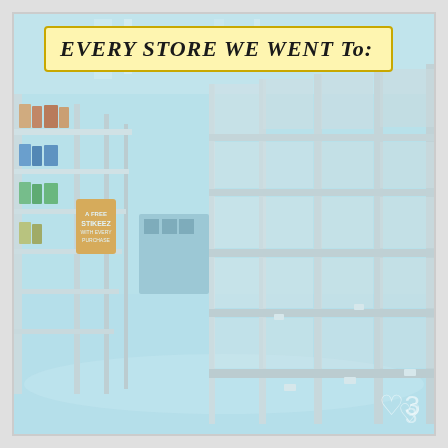[Figure (photo): A supermarket aisle with completely empty shelves on the right side and some stocked shelves on the left side, with a blue-tinted color overlay. The floor is shiny white. Overhead fluorescent lighting runs along the ceiling.]
EVERY STORE WE WENT TO: